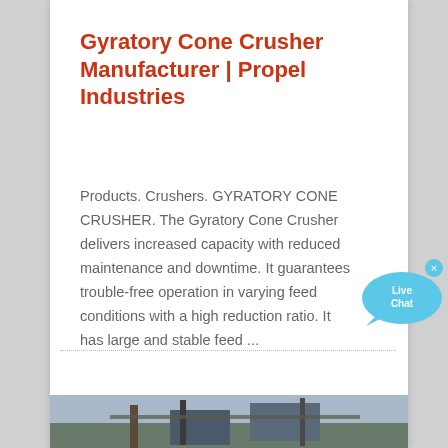Gyratory Cone Crusher Manufacturer | Propel Industries
Products. Crushers. GYRATORY CONE CRUSHER. The Gyratory Cone Crusher delivers increased capacity with reduced maintenance and downtime. It guarantees trouble-free operation in varying feed conditions with a high reduction ratio. It has large and stable feed ...
[Figure (photo): Live Chat widget — blue speech bubble with 'Live Chat' text and a close (×) button]
[Figure (photo): Outdoor photograph of a gyratory cone crusher installed at a site, partially visible at the bottom of the page]